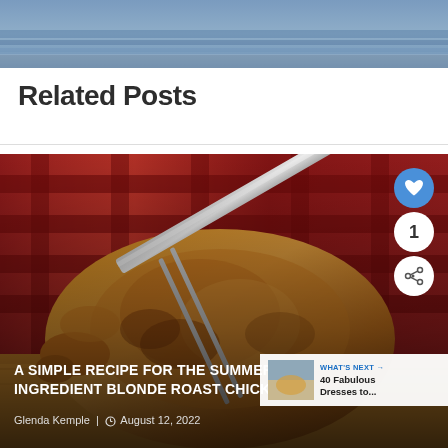[Figure (photo): Top portion of a photo showing a blurred blue/grey outdoor scene — likely a lake or river background]
Related Posts
[Figure (photo): Close-up photo of a golden-brown roast chicken being carved with a large knife, on a wooden surface with a red checkered cloth background. Overlaid with a heart button, share button, count badge '1', article title, author byline, and a 'What's Next' teaser box.]
A SIMPLE RECIPE FOR THE SUMMER INGREDIENT BLONDE ROAST CHICK...
Glenda Kemple | August 12, 2022
WHAT'S NEXT → 40 Fabulous Dresses to...